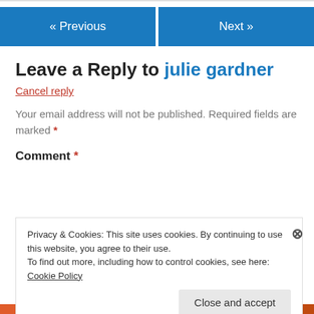[Figure (other): Navigation buttons: « Previous and Next »]
Leave a Reply to julie gardner
Cancel reply
Your email address will not be published. Required fields are marked *
Comment *
Privacy & Cookies: This site uses cookies. By continuing to use this website, you agree to their use. To find out more, including how to control cookies, see here: Cookie Policy
Close and accept